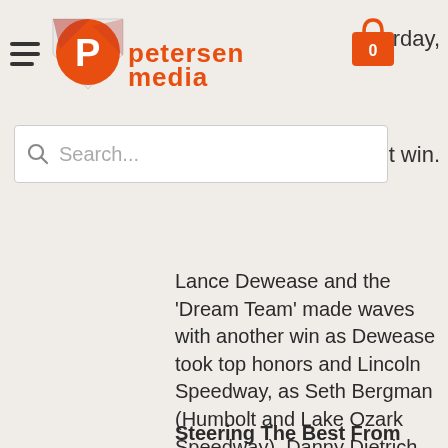Petersen Media
[Figure (logo): Petersen Media logo with orange P icon and orange text]
rday,
nt win.
Lance Dewease and the 'Dream Team' made waves with another win as Dewease took top honors and Lincoln Speedway, as Seth Bergman (Humbolt and Lake Ozark Speedway), Danny Dietrich (Port Royal), Matt Covington (Tri State), Bud Kaeding (Ocean), Carson Macedo (Keller Auto Speedway), Tanner Carrick (Silver Dollar), Austin Liggett (Merced), and Zach Daum (Valley Speedway) all were able to win with KSE Racing Products.
Steering The Best From East To West: